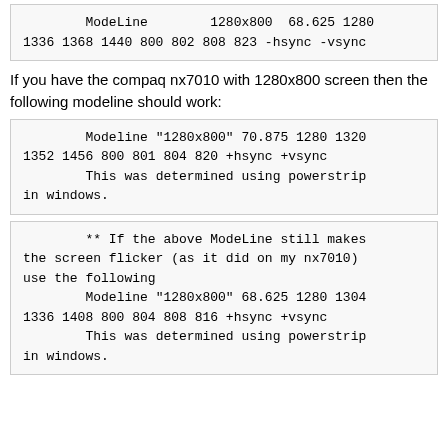ModeLine        1280x800  68.625 1280 1336 1368 1440 800 802 808 823 -hsync -vsync
If you have the compaq nx7010 with 1280x800 screen then the following modeline should work:
Modeline "1280x800" 70.875 1280 1320 1352 1456 800 801 804 820 +hsync +vsync
        This was determined using powerstrip in windows.
** If the above ModeLine still makes the screen flicker (as it did on my nx7010) use the following
        Modeline "1280x800" 68.625 1280 1304 1336 1408 800 804 808 816 +hsync +vsync
        This was determined using powerstrip in windows.